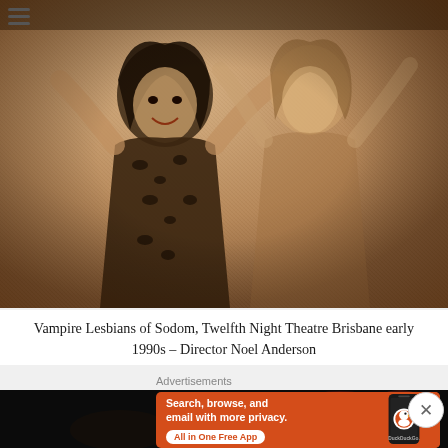[Figure (photo): Sepia-toned photograph of two women posing dramatically, one in a leopard-print outfit, from a stage production. Menu/hamburger icon visible top-left.]
Vampire Lesbians of Sodom, Twelfth Night Theatre Brisbane early 1990s – Director Noel Anderson
[Figure (photo): Partially visible dark background image, second photo below the caption, partially obscured by advertisement overlay with close button.]
Advertisements
[Figure (screenshot): DuckDuckGo advertisement banner: orange background with text 'Search, browse, and email with more privacy. All in One Free App' and image of a smartphone with DuckDuckGo app.]